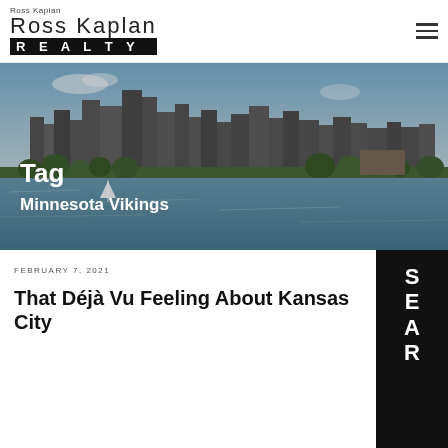Ross Kaplan | Ross Kaplan REALTY
[Figure (photo): Minneapolis city skyline across a lake with sailboats, trees along the shore]
Tag
Minnesota Vikings
FEBRUARY 7, 2021
That Déjà Vu Feeling About Kansas City